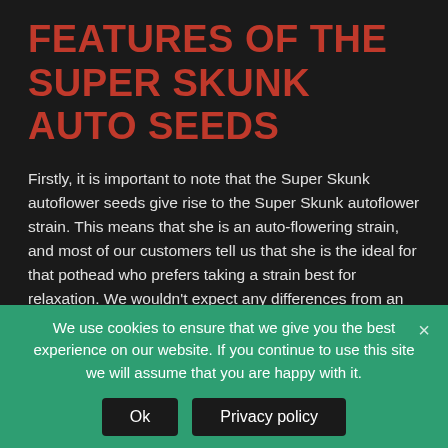FEATURES OF THE SUPER SKUNK AUTO SEEDS
Firstly, it is important to note that the Super Skunk autoflower seeds give rise to the Super Skunk autoflower strain. This means that she is an auto-flowering strain, and most of our customers tell us that she is the ideal for that pothead who prefers taking a strain best for relaxation. We wouldn't expect any differences from an Indica, though as she is an hybrid with a more inclination to the Indica side (65% and 35% Sativa).
We use cookies to ensure that we give you the best experience on our website. If you continue to use this site we will assume that you are happy with it.